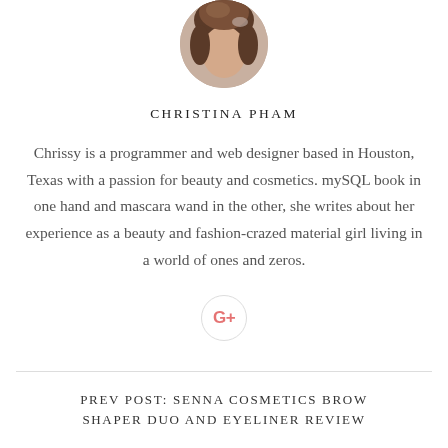[Figure (photo): Circular cropped profile photo of a woman with dark hair]
CHRISTINA PHAM
Chrissy is a programmer and web designer based in Houston, Texas with a passion for beauty and cosmetics. mySQL book in one hand and mascara wand in the other, she writes about her experience as a beauty and fashion-crazed material girl living in a world of ones and zeros.
[Figure (logo): Google+ social media icon in a circle]
PREV POST: SENNA COSMETICS BROW SHAPER DUO AND EYELINER REVIEW